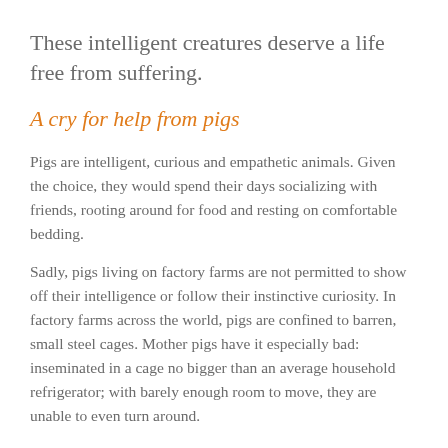These intelligent creatures deserve a life free from suffering.
A cry for help from pigs
Pigs are intelligent, curious and empathetic animals. Given the choice, they would spend their days socializing with friends, rooting around for food and resting on comfortable bedding.
Sadly, pigs living on factory farms are not permitted to show off their intelligence or follow their instinctive curiosity. In factory farms across the world, pigs are confined to barren, small steel cages. Mother pigs have it especially bad: inseminated in a cage no bigger than an average household refrigerator; with barely enough room to move, they are unable to even turn around.